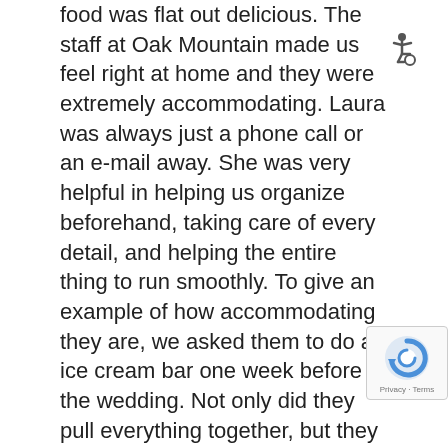food was flat out delicious. The staff at Oak Mountain made us feel right at home and they were extremely accommodating. Laura was always just a phone call or an e-mail away. She was very helpful in helping us organize beforehand, taking care of every detail, and helping the entire thing to run smoothly. To give an example of how accommodating they are, we asked them to do an ice cream bar one week before the wedding. Not only did they pull everything together, but they went above and beyond what we expected. And of course, it was absolutely delicious! We still cannot get out of our heads the image of the mountains surrounding us, the clouds rolling around in the sky, the lakes off in the distance, and just the overall feeling of peace and joy that we felt during our ceremony. Getting married at Oak Mountain, as cliché as it sounds, really was a dream come true. We could not have been happier!"
[Figure (other): Wheelchair accessibility icon (ISA symbol) in the upper right area of the text]
[Figure (logo): Google reCAPTCHA badge in the lower right corner with circular arrow logo and 'Privacy - Terms' text]